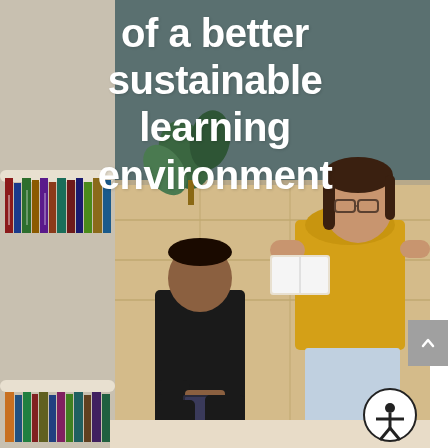[Figure (photo): Two students in a library setting. A girl in a yellow t-shirt wearing glasses stands holding a book, talking to a boy in a black long-sleeve shirt who is crouching near a curved wooden bookshelf filled with books. A plant is visible in the background against a dark teal/grey wall. The top portion of the image has a dark teal background with large white bold text overlaid.]
of a better sustainable learning environment